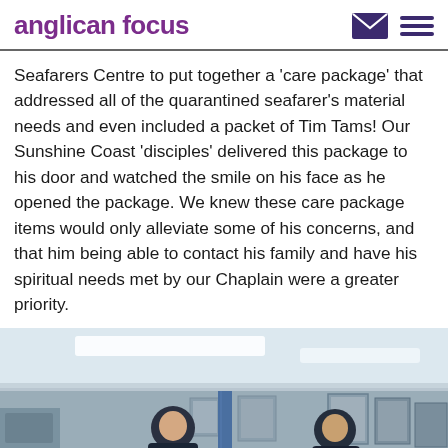anglican focus
Seafarers Centre to put together a ‘care package’ that addressed all of the quarantined seafarer’s material needs and even included a packet of Tim Tams! Our Sunshine Coast ‘disciples’ delivered this package to his door and watched the smile on his face as he opened the package. We knew these care package items would only alleviate some of his concerns, and that him being able to contact his family and have his spiritual needs met by our Chaplain were a greater priority.
[Figure (photo): Indoor photo of two men in dark navy shirts standing inside what appears to be a seafarers centre, with fluorescent ceiling lights, framed pictures on walls, and various items visible in the background.]